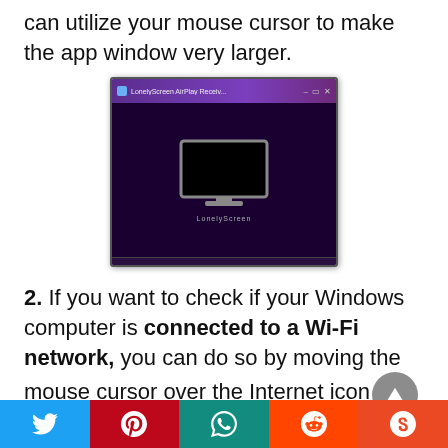can utilize your mouse cursor to make the app window very larger.
[Figure (screenshot): LonelyScreen AirPlay Receiver application window showing a dark purple background with a monitor icon in the center and 'LonelyScreen' text at the bottom.]
2. If you want to check if your Windows computer is connected to a Wi-Fi network, you can do so by moving the mouse cursor over the Internet icon that is located in the toolbar. Your gadget is now
Twitter, Pinterest, WhatsApp, Reddit, StumbleUpon social share buttons